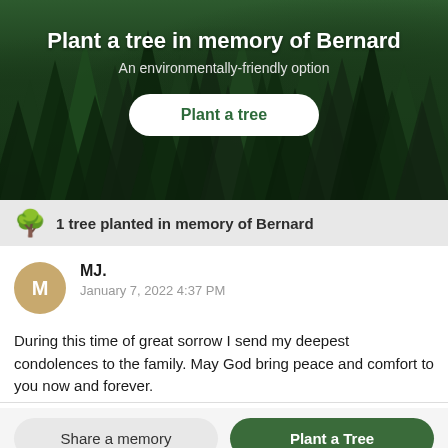[Figure (photo): Dark green forest of tall evergreen trees viewed from above, serving as hero background image]
Plant a tree in memory of Bernard
An environmentally-friendly option
Plant a tree
1 tree planted in memory of Bernard
MJ.
January 7, 2022 4:37 PM
During this time of great sorrow I send my deepest condolences to the family. May God bring peace and comfort to you now and forever.
Share a memory
Plant a Tree